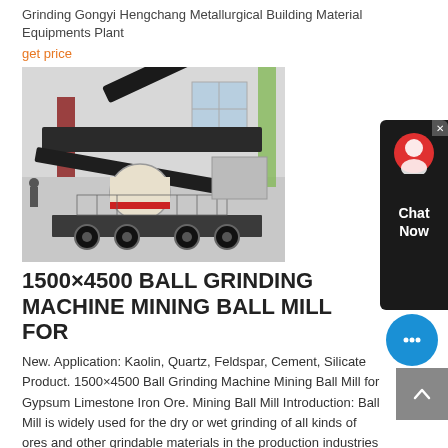Grinding Gongyi Hengchang Metallurgical Building Material Equipments Plant
get price
[Figure (photo): Aerial/overhead photo of a 1500×4500 Ball Grinding Machine / Mining Ball Mill industrial equipment on a mobile chassis inside a factory or warehouse building.]
1500×4500 BALL GRINDING MACHINE MINING BALL MILL FOR
New. Application: Kaolin, Quartz, Feldspar, Cement, Silicate Product. 1500×4500 Ball Grinding Machine Mining Ball Mill for Gypsum Limestone Iron Ore. Mining Ball Mill Introduction: Ball Mill is widely used for the dry or wet grinding of all kinds of ores and other grindable materials in the production industries of kaolin, quartz, feldspar